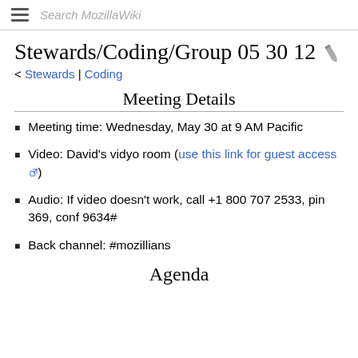Search MozillaWiki
Stewards/Coding/Group 05 30 12
< Stewards | Coding
Meeting Details
Meeting time: Wednesday, May 30 at 9 AM Pacific
Video: David's vidyo room (use this link for guest access)
Audio: If video doesn't work, call +1 800 707 2533, pin 369, conf 9634#
Back channel: #mozillians
Agenda